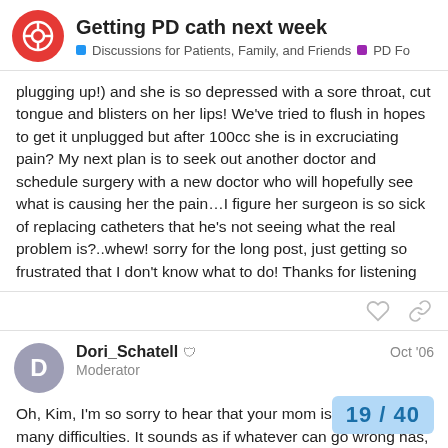Getting PD cath next week | Discussions for Patients, Family, and Friends | PD Fo
plugging up!) and she is so depressed with a sore throat, cut tongue and blisters on her lips! We've tried to flush in hopes to get it unplugged but after 100cc she is in excruciating pain? My next plan is to seek out another doctor and schedule surgery with a new doctor who will hopefully see what is causing her the pain…I figure her surgeon is so sick of replacing catheters that he's not seeing what the real problem is?..whew! sorry for the long post, just getting so frustrated that I don't know what to do! Thanks for listening
Dori_Schatell Moderator Oct '06
Oh, Kim, I'm so sorry to hear that your mom is having so many difficulties. It sounds as if whatever can go wrong has, in her case. And it must add to your frustration th catheter he flushed early and it wasn't. Oft